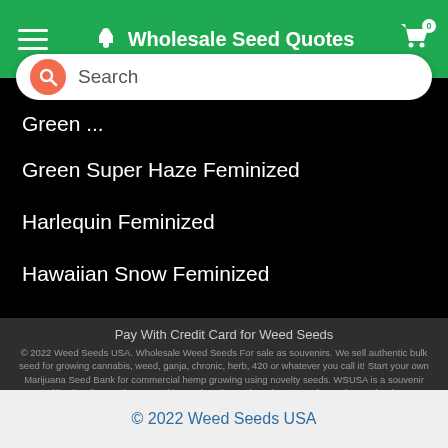Wholesale Seed Quotes
[Figure (screenshot): Search bar with red/orange circle search icon and placeholder text 'Search']
Green ...
Green Super Haze Feminized
Harlequin Feminized
Hawaiian Snow Feminized
Pay With Credit Card for Weed Seeds
© 2022 Weed Seeds USA. Wholesale Weed Seeds For sale as souvenirs. We sell authentic bulk seed for growing cannabis, weed, ganja, chronic, herb, 420 or whatever you call it! Start your own Marijuana Seed Bank for commercial hemp growing using novelty seeds. WSUSA is a souvenir seed bank online, so buy cannabis seeds today and stock up on a doomsday vault. Please germinate with care and only when permitted by State 420 authorities. All Rights Reserved. WSUSA - Marijuana Seeds For Sale
© 2022 Weed Seeds USA